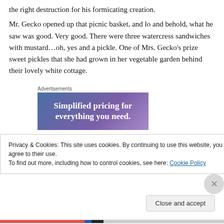the right destruction for his formicating creation.
Mr. Gecko opened up that picnic basket, and lo and behold, what he saw was good. Very good. There were three watercress sandwiches with mustard…oh, yes and a pickle. One of Mrs. Gecko's prize sweet pickles that she had grown in her vegetable garden behind their lovely white cottage.
Advertisements
[Figure (other): Advertisement banner with gradient blue-purple background and white text reading 'Simplified pricing for everything you need.']
Privacy & Cookies: This site uses cookies. By continuing to use this website, you agree to their use.
To find out more, including how to control cookies, see here: Cookie Policy
Close and accept